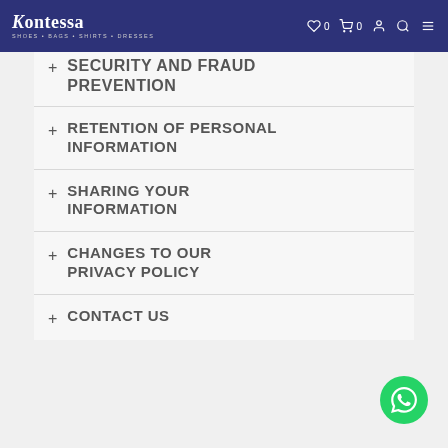Kontessa — SHOES • BAGS • SHIRTS • DRESSES
SECURITY AND FRAUD PREVENTION
RETENTION OF PERSONAL INFORMATION
SHARING YOUR INFORMATION
CHANGES TO OUR PRIVACY POLICY
CONTACT US